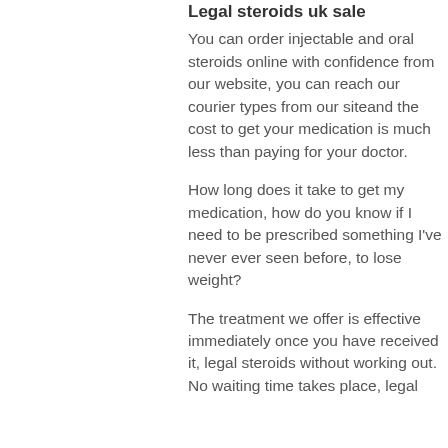Legal steroids uk sale
You can order injectable and oral steroids online with confidence from our website, you can reach our courier types from our siteand the cost to get your medication is much less than paying for your doctor.
How long does it take to get my medication, how do you know if I need to be prescribed something I've never ever seen before, to lose weight?
The treatment we offer is effective immediately once you have received it, legal steroids without working out. No waiting time takes place, legal